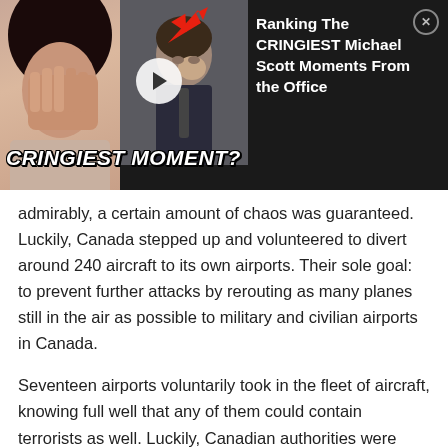[Figure (screenshot): Advertisement banner for 'Ranking The CRINGIEST Michael Scott Moments From the Office' video. Shows a thumbnail with a woman covering her face and a man crying, a red arrow, a play button, and overlay text 'CRINGIEST MOMENT?' in bold white italic letters. Black background with white title text and a close (X) button.]
admirably, a certain amount of chaos was guaranteed. Luckily, Canada stepped up and volunteered to divert around 240 aircraft to its own airports. Their sole goal: to prevent further attacks by rerouting as many planes still in the air as possible to military and civilian airports in Canada.
Seventeen airports voluntarily took in the fleet of aircraft, knowing full well that any of them could contain terrorists as well. Luckily, Canadian authorities were able to rule out all of the flights as threats. So, in true Canadian fashion, many of the grounded passengers were treated with the utmost care. Some were even escorted by locals around the town they were grounded in, shown the sights, and